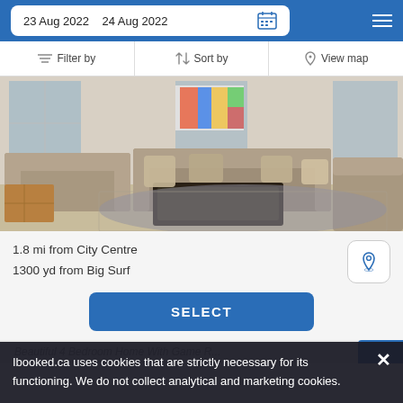23 Aug 2022   24 Aug 2022
Filter by   Sort by   View map
[Figure (photo): Interior photo of a living room with beige/grey sofas, a dark wood coffee table, a colorful abstract painting on the wall, and large windows.]
1.8 mi from City Centre
1300 yd from Big Surf
SELECT
Beautiful 4 Bedroom Home With Game R...
Ibooked.ca uses cookies that are strictly necessary for its functioning. We do not collect analytical and marketing cookies.